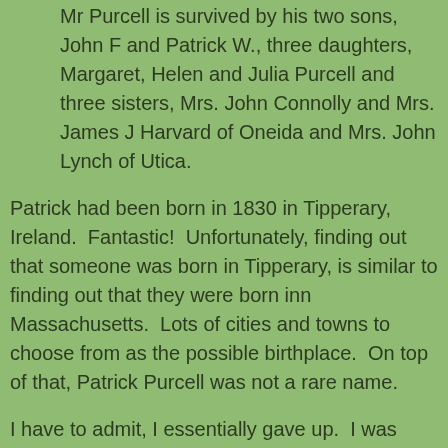Mr Purcell is survived by his two sons, John F and Patrick W., three daughters, Margaret, Helen and Julia Purcell and three sisters, Mrs. John Connolly and Mrs. James J Harvard of Oneida and Mrs. John Lynch of Utica.
Patrick had been born in 1830 in Tipperary, Ireland.  Fantastic!  Unfortunately, finding out that someone was born in Tipperary, is similar to finding out that they were born inn Massachusetts.  Lots of cities and towns to choose from as the possible birthplace.  On top of that, Patrick Purcell was not a rare name.
I have to admit, I essentially gave up.  I was satisfied that I had found the region of Ireland the Purcell family had originated.
A year later I was googling (we all do it), Patrick Purcell and his wife, Bridget Dunbar.  An interested